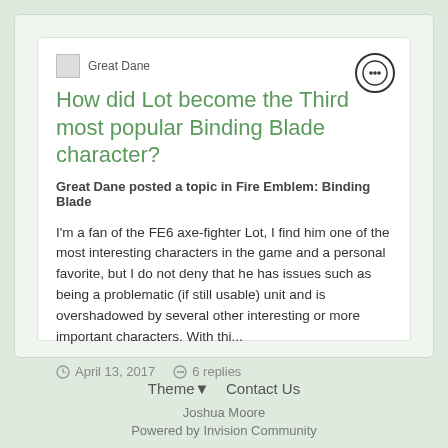Great Dane
How did Lot become the Third most popular Binding Blade character?
Great Dane posted a topic in Fire Emblem: Binding Blade
I'm a fan of the FE6 axe-fighter Lot, I find him one of the most interesting characters in the game and a personal favorite, but I do not deny that he has issues such as being a problematic (if still usable) unit and is overshadowed by several other interesting or more important characters. With thi...
April 13, 2017   6 replies
Theme  Contact Us
Joshua Moore
Powered by Invision Community